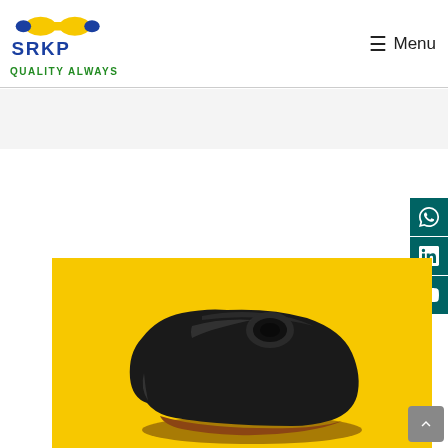SRKP Quality Always — Menu
[Figure (photo): A dark gray/black molded rubber or plastic component (possibly an air filter housing or tank) photographed on a yellow background. The component has a rounded teardrop-like shape with a small circular inlet/port on top.]